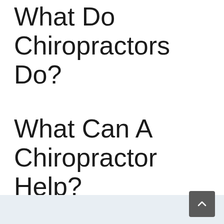What Do Chiropractors Do?
What Can A Chiropractor Help?